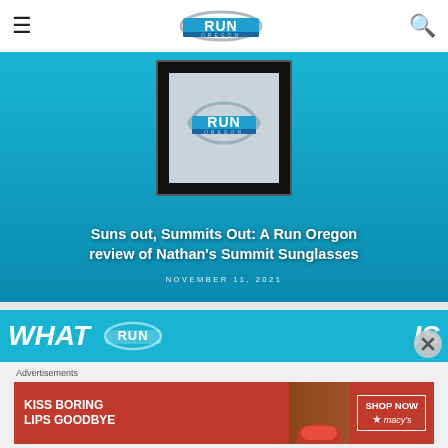[Figure (logo): Run Oregon website header with hamburger menu, Run Oregon logo, and search icon]
[Figure (photo): Article hero image with Run Oregon logo on dark background over cyan/blue gradient, featuring article title overlay]
Suns out, Summits Out: A Run Oregon review of Nathan’s Summit Sunglasses
NOVEMBER 11, 2021
[Figure (screenshot): Second banner showing WHAT RUN IS text with Run Oregon logo, partial view]
Advertisements
[Figure (photo): Macy’s advertisement: KISS BORING LIPS GOODBYE with SHOP NOW button and Macy’s star logo]